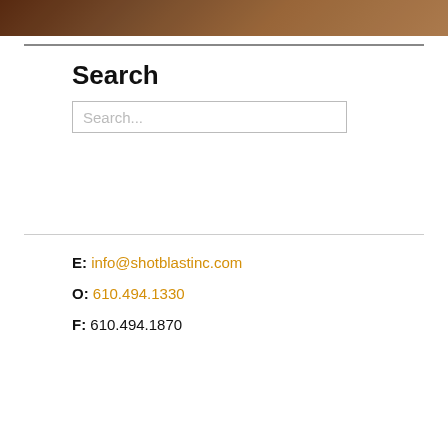[Figure (photo): Partial view of a surface with brown/copper tones, likely a shot-blasted or textured metal surface]
Search
Search...
E: info@shotblastinc.com
O: 610.494.1330
F: 610.494.1870